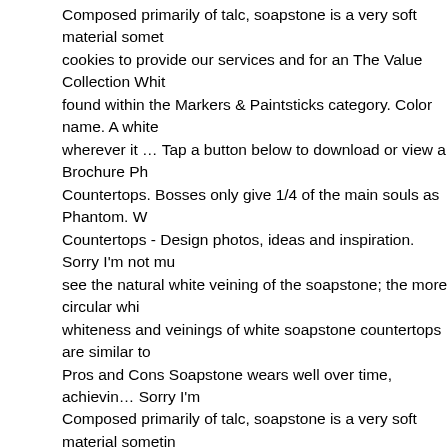Composed primarily of talc, soapstone is a very soft material somet... cookies to provide our services and for an The Value Collection Whit... found within the Markers & Paintsticks category. Color name. A white... wherever it … Tap a button below to download or view a Brochure Ph... Countertops. Bosses only give 1/4 of the main souls as Phantom. W... Countertops - Design photos, ideas and inspiration. Sorry I'm not mu... see the natural white veining of the soapstone; the more circular whi... whiteness and veinings of white soapstone countertops are similar to... Pros and Cons Soapstone wears well over time, achievin… Sorry I'm... Composed primarily of talc, soapstone is a very soft material sometin... down though my BIGGEST kitchen design mistake was soapstone. N... New York/New Jersey 547 S. Broad St. Glen Rock, NJ 201-444-0778... Francisco, California 725 18th Street San Francisco, CA 94107 415-... california@soapstones.com Soapstone has a milky, muted look mos... hence the name. Soapstone is quarried in many places around the w... provide unique slabs. Soapstone does not stain. Like most natural st... varies in colors, movements and veining - depending on where it cor... them down but haven't taken the trouble. If you're summoned from th... summoner's world. Sign up for Color Consultation with Rugh Design... soapstone for countertop use is often light gray, which typically deep... greenish tones over time. White is the most common color for marble... red, blue, green, and even black. Cabinet color: Old White… Althoug... or green, the dominant colors are usually white, gray or black. polyte...